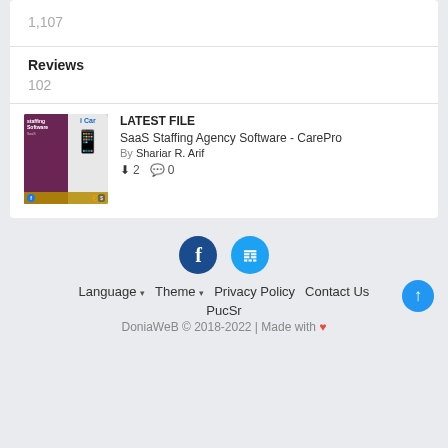1,107
Reviews
102
LATEST FILE
SaaS Staffing Agency Software - CarePro
By Shariar R. Arif
2   0
[Figure (screenshot): Thumbnail image of SaaS Staffing Agency Software CarePro with purple background and phone mockup]
Language ▾  Theme ▾  Privacy Policy  Contact Us  PucSr  DoniaWeB © 2018-2022 | Made with ♥